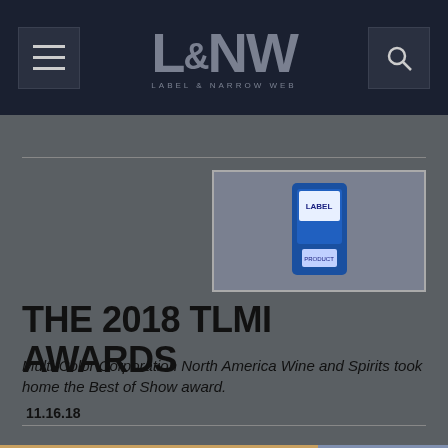L&NW LABEL & NARROW WEB
[Figure (photo): Product photo showing a label on a bottle or package with blue packaging]
THE 2018 TLMI AWARDS
Multi-Color Corporation North America Wine and Spirits took home the Best of Show award.
11.16.18
[Figure (infographic): Yazoo Mills advertisement: Delivered On-Time. Every Time. Guaranteed. 100 years of excellence]